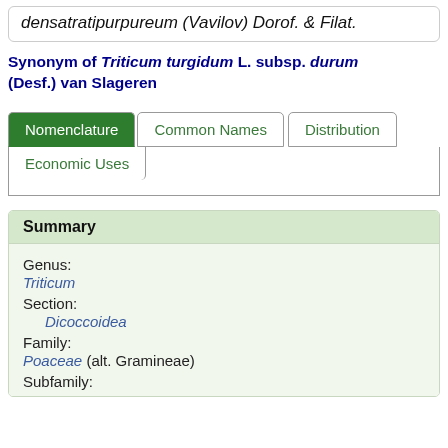densatratipurpureum (Vavilov) Dorof. & Filat.
Synonym of Triticum turgidum L. subsp. durum (Desf.) van Slageren
[Figure (other): Navigation tabs: Nomenclature (active, green), Common Names, Distribution, Economic Uses]
Summary
Genus: Triticum
Section: Dicoccoidea
Family: Poaceae (alt. Gramineae)
Subfamily: